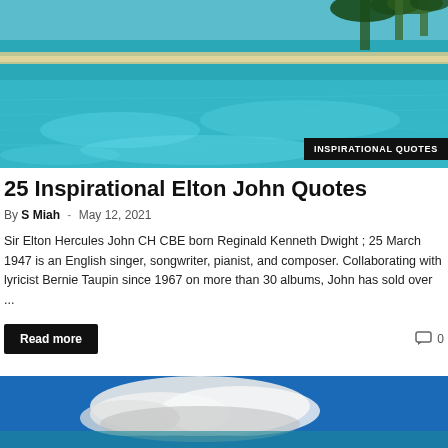[Figure (photo): Tropical beach scene with clear turquoise shallow water and palm trees along the shoreline in the background]
INSPIRATIONAL QUOTES
25 Inspirational Elton John Quotes
By S Miah - May 12, 2021
Sir Elton Hercules John CH CBE born Reginald Kenneth Dwight ; 25 March 1947 is an English singer, songwriter, pianist, and composer. Collaborating with lyricist Bernie Taupin since 1967 on more than 30 albums, John has sold over ...
Read more
0
[Figure (photo): Blue sky with clouds, partial image visible at bottom of page]